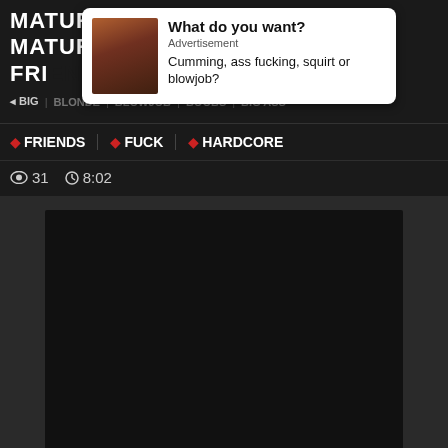MATURE SKY HAVEN AND HER MATURE FRIENDS FUCK HARDCORE
[Figure (screenshot): Advertisement popup overlay with thumbnail image showing a person, with text 'What do you want? Advertisement Cumming, ass fucking, squirt or blowjob?']
FRIENDS FUCK HARDCORE
31  8:02
[Figure (screenshot): Dark video player area, content blacked out]